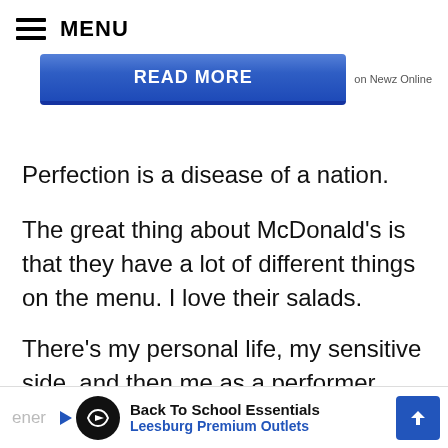≡ MENU
[Figure (other): Blue 'READ MORE' button with text 'on Newz Online' to the right]
Perfection is a disease of a nation.
The great thing about McDonald's is that they have a lot of different things on the menu. I love their salads.
There's my personal life, my sensitive side, and then me as a performer, sexy and
[Figure (infographic): Advertisement bar: Back To School Essentials - Leesburg Premium Outlets with circular logo and blue arrow button]